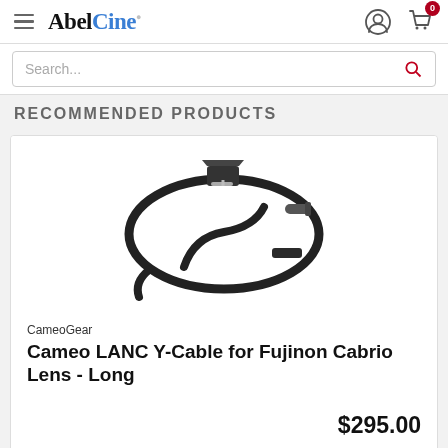AbelCine
RECOMMENDED PRODUCTS
[Figure (photo): Cameo LANC Y-Cable for Fujinon Cabrio Lens - Long product photo showing a black Y-shaped cable with connectors coiled in a loop]
CameoGear
Cameo LANC Y-Cable for Fujinon Cabrio Lens - Long
$295.00
ADD TO CART